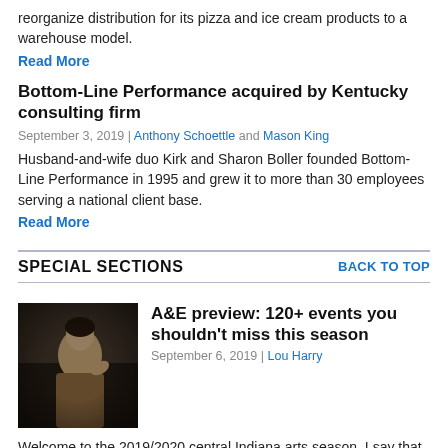reorganize distribution for its pizza and ice cream products to a warehouse model.
Read More
Bottom-Line Performance acquired by Kentucky consulting firm
September 3, 2019 | Anthony Schoettle and Mason King
Husband-and-wife duo Kirk and Sharon Boller founded Bottom-Line Performance in 1995 and grew it to more than 30 employees serving a national client base.
Read More
SPECIAL SECTIONS
BACK TO TOP
[Figure (photo): A performer or artist photographed in a dark, moody setting, styled in a dramatic pose.]
A&E preview: 120+ events you shouldn't miss this season
September 6, 2019 | Lou Harry
Welcome to the 2019/2020 central Indiana arts season. I say that assuming you are an audience member and not one of the thousands of local arts professionals and talented non-pros. Many of those folks have already been hard at work creating and curating what you'll